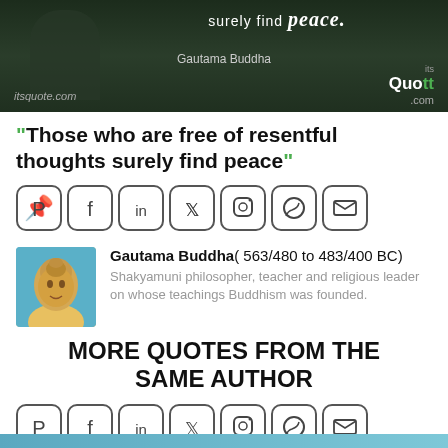[Figure (photo): Dark background banner image with text 'surely find peace.' in italic handwriting style, attributed to Gautama Buddha, with itsquote.com logo]
“Those who are free of resentful thoughts surely find peace”
[Figure (infographic): Row of social media sharing icons: Pinterest, Facebook, LinkedIn, Twitter, Instagram, WhatsApp, Email]
Gautama Buddha( 563/480 to 483/400 BC) Shakyamuni philosopher, teacher and religious leader on whose teachings Buddhism was founded.
MORE QUOTES FROM THE SAME AUTHOR
[Figure (infographic): Second row of social media sharing icons: Pinterest, Facebook, LinkedIn, Twitter, Instagram, WhatsApp, Email]